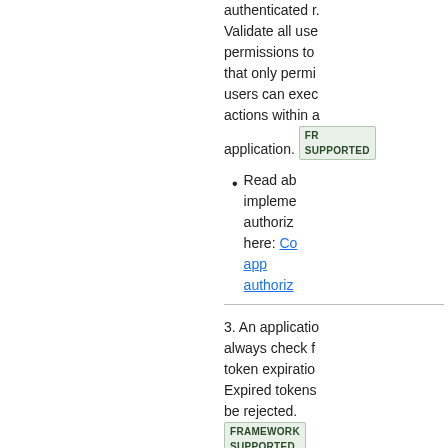authenticated r. Validate all use permissions to that only permi users can exec actions within a application. FRAMEWORK SUPPORTED
Read ab impleme authoriz here: Cc app authoriz
3. An applicatio always check f token expiratio Expired tokens be rejected. FRAMEWORK SUPPORTED